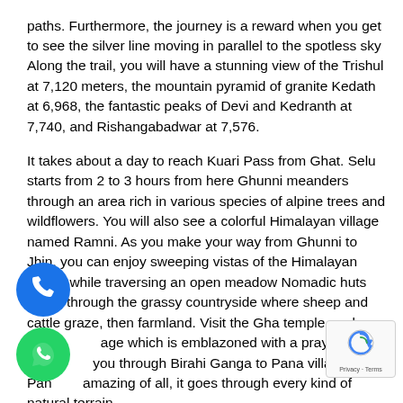paths. Furthermore, the journey is a reward when you get to see the silver line moving in parallel to the spotless sky Along the trail, you will have a stunning view of the Trishul at 7,120 meters, the mountain pyramid of granite Kedath at 6,968, the fantastic peaks of Devi and Kedranth at 7,740, and Rishangabadwar at 7,576.
It takes about a day to reach Kuari Pass from Ghat. Selu starts from 2 to 3 hours from here Ghunni meanders through an area rich in various species of alpine trees and wildflowers. You will also see a colorful Himalayan village named Ramni. As you make your way from Ghunni to Jhin, you can enjoy sweeping vistas of the Himalayan jewels while traversing an open meadow Nomadic huts follow through the grassy countryside where sheep and cattle graze, then farmland. Visit the Gha temple, a place of pilgrimage which is emblazoned with a prayer flag 1 takes you through Birahi Ganga to Pana village Pan amazing of all, it goes through every kind of natural terrain
[Figure (illustration): Blue circular phone call icon button]
[Figure (illustration): WhatsApp green circular icon button]
[Figure (illustration): Google reCAPTCHA badge with Privacy and Terms links]